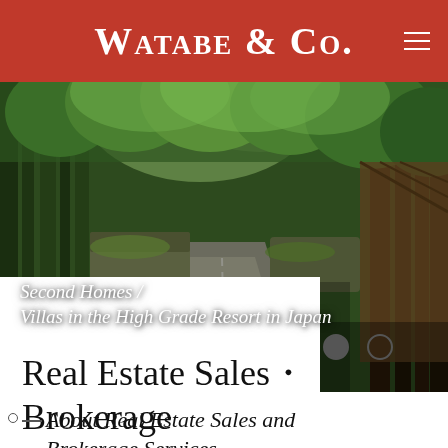Watabe & Co.
[Figure (photo): A lush green forest road with tall trees forming a canopy, with mossy stone walls on either side. A wooden structure visible on the right. Forest path leads into the distance.]
Second Homes / Villas in the High Grade Resort in Japan
Real Estate Sales・Brokerage
About Real Estate Sales and Brokerage Services